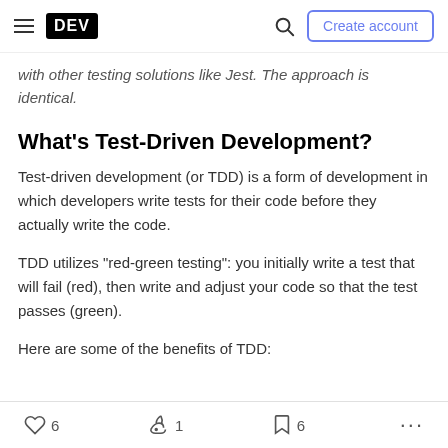DEV | Create account
with other testing solutions like Jest. The approach is identical.
What's Test-Driven Development?
Test-driven development (or TDD) is a form of development in which developers write tests for their code before they actually write the code.
TDD utilizes "red-green testing": you initially write a test that will fail (red), then write and adjust your code so that the test passes (green).
Here are some of the benefits of TDD:
6  1  6  ...